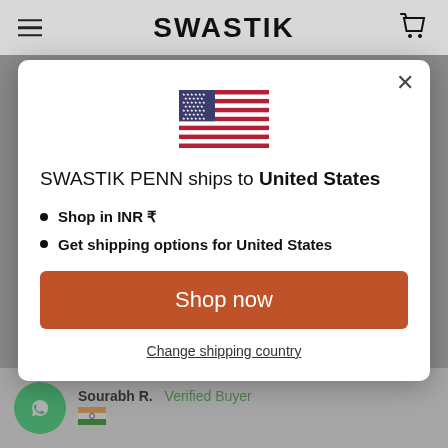SWASTIK
[Figure (illustration): US flag emoji icon centered in modal]
SWASTIK PENN ships to United States
Shop in INR ₹
Get shipping options for United States
Shop now
Change shipping country
Sourabh R.  Verified Buyer